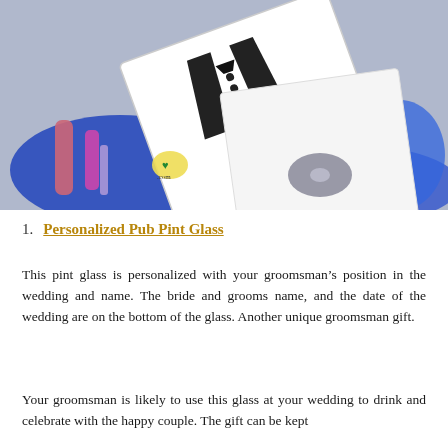[Figure (photo): Photo of groomsman gift boxes/cards with tuxedo design on white card, arranged in a blue fabric or organza bag, with some items visible inside including what appears to be a music CD and other items.]
1. Personalized Pub Pint Glass
This pint glass is personalized with your groomsman's position in the wedding and name. The bride and grooms name, and the date of the wedding are on the bottom of the glass. Another unique groomsman gift.
Your groomsman is likely to use this glass at your wedding to drink and celebrate with the happy couple. The gift can be kept